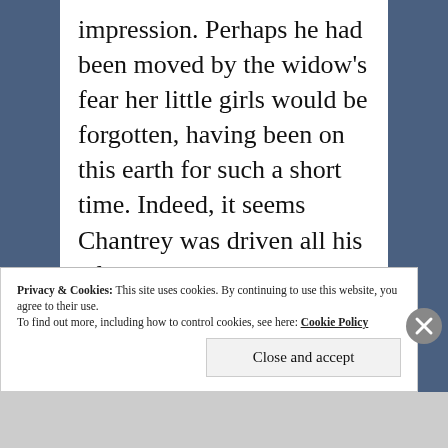impression. Perhaps he had been moved by the widow's fear her little girls would be forgotten, having been on this earth for such a short time. Indeed, it seems Chantrey was driven all his life to set portraits in stone before death destroyed the sitter's flesh–and time his memory.
Chantrey's sculptures of the Georgian
Privacy & Cookies: This site uses cookies. By continuing to use this website, you agree to their use.
To find out more, including how to control cookies, see here: Cookie Policy
Close and accept